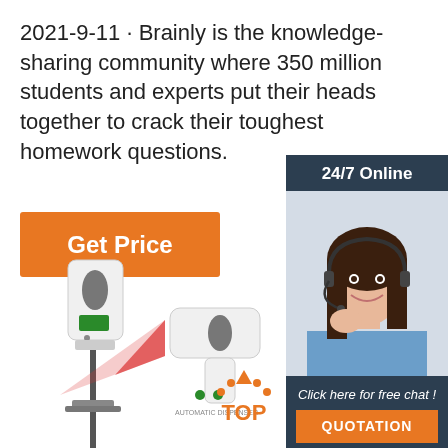2021-9-11 · Brainly is the knowledge-sharing community where 350 million students and experts put their heads together to crack their toughest homework questions.
Get Price
24/7 Online
[Figure (photo): Woman with headset smiling, representing a 24/7 online support agent]
Click here for free chat !
QUOTATION
[Figure (photo): Automatic dispenser product with temperature scanner emitting red beam, shown in two views]
[Figure (logo): TOP badge with orange arrow/arch logo and text TOP]